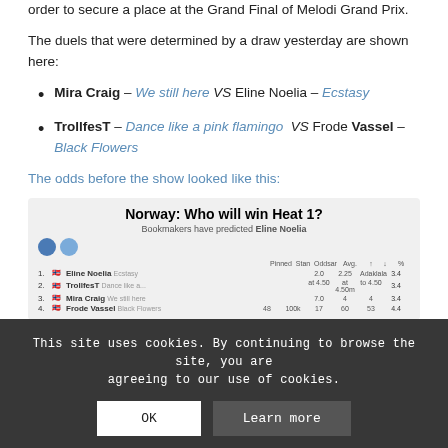order to secure a place at the Grand Final of Melodi Grand Prix.
The duels that were determined by a draw yesterday are shown here:
Mira Craig – We still here VS Eline Noelia – Ecstasy
TrollfesT – Dance like a pink flamingo VS Frode Vassel – Black Flowers
The odds before the show looked like this:
| # |  | Name |  |  |  |  |  |
| --- | --- | --- | --- | --- | --- | --- | --- |
| 1 |  | Eline Noelia |  |  |  |  |  |
| 2 |  | TrollfesT |  |  |  |  |  |
| 3 |  | Mira Craig |  |  |  |  |  |
| 4 |  | Frode Vassel |  |  |  |  |  |
This site uses cookies. By continuing to browse the site, you are agreeing to our use of cookies.